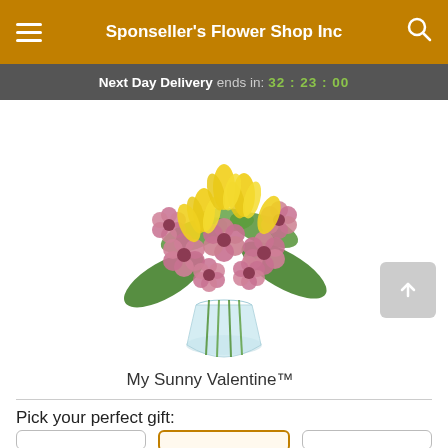Sponseller's Flower Shop Inc
Next Day Delivery ends in: 32 : 23 : 00
[Figure (photo): A bouquet of yellow tulips and pink alstroemeria flowers in a glass vase, product photo on white background]
My Sunny Valentine™
Pick your perfect gift: